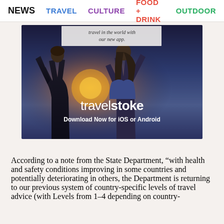NEWS  TRAVEL  CULTURE  FOOD + DRINK  OUTDOOR
[Figure (photo): Advertisement banner for travelstoke app showing two people with arms raised against a sunset background. Text reads: 'travel in the world with our new app. travelstoke Download Now for iOS or Android']
According to a note from the State Department, “with health and safety conditions improving in some countries and potentially deteriorating in others, the Department is returning to our previous system of country-specific levels of travel advice (with Levels from 1-4 depending on country-